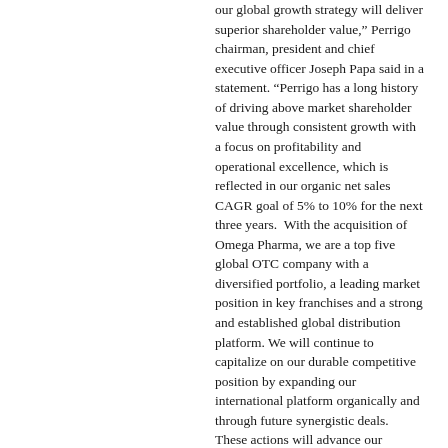our global growth strategy will deliver superior shareholder value," Perrigo chairman, president and chief executive officer Joseph Papa said in a statement. "Perrigo has a long history of driving above market shareholder value through consistent growth with a focus on profitability and operational excellence, which is reflected in our organic net sales CAGR goal of 5% to 10% for the next three years. With the acquisition of Omega Pharma, we are a top five global OTC company with a diversified portfolio, a leading market position in key franchises and a strong and established global distribution platform. We will continue to capitalize on our durable competitive position by expanding our international platform organically and through future synergistic deals. These actions will advance our leadership in the global OTC marketplace."
Perrigo's board advised the company's